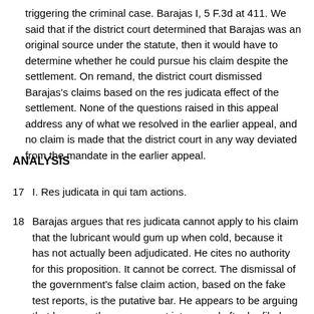triggering the criminal case. Barajas I, 5 F.3d at 411. We said that if the district court determined that Barajas was an original source under the statute, then it would have to determine whether he could pursue his claim despite the settlement. On remand, the district court dismissed Barajas's claims based on the res judicata effect of the settlement. None of the questions raised in this appeal address any of what we resolved in the earlier appeal, and no claim is made that the district court in any way deviated from the mandate in the earlier appeal.
ANALYSIS
17  I. Res judicata in qui tam actions.
18  Barajas argues that res judicata cannot apply to his claim that the lubricant would gum up when cold, because it has not actually been adjudicated. He cites no authority for this proposition. It cannot be correct. The dismissal of the government's false claim action, based on the fake test reports, is the putative bar. He appears to be arguing that because the government intervened after he filed, that somehow affects the bar. The date of rendition of the judgment is controlling for purposes of res judicata, not the dates of commencement of the action or actions that bore the notice to be affected by the bar.